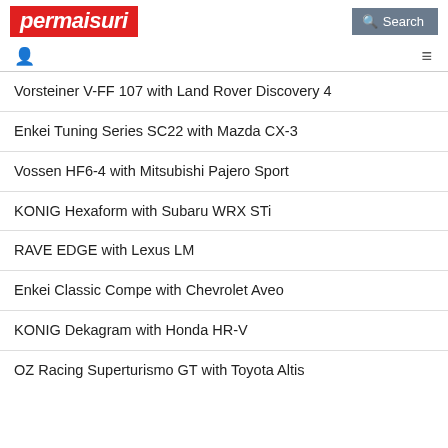permaisuri | Search
Vorsteiner V-FF 107 with Land Rover Discovery 4
Enkei Tuning Series SC22 with Mazda CX-3
Vossen HF6-4 with Mitsubishi Pajero Sport
KONIG Hexaform with Subaru WRX STi
RAVE EDGE with Lexus LM
Enkei Classic Compe with Chevrolet Aveo
KONIG Dekagram with Honda HR-V
OZ Racing Superturismo GT with Toyota Altis